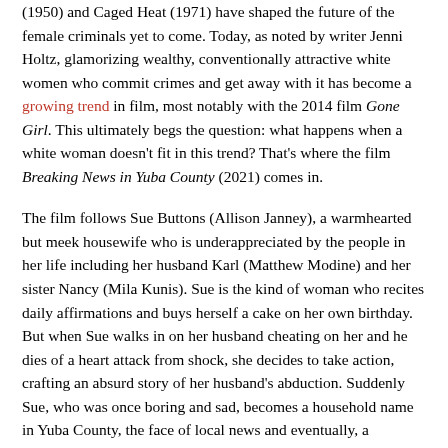(1950) and Caged Heat (1971) have shaped the future of the female criminals yet to come. Today, as noted by writer Jenni Holtz, glamorizing wealthy, conventionally attractive white women who commit crimes and get away with it has become a growing trend in film, most notably with the 2014 film Gone Girl. This ultimately begs the question: what happens when a white woman doesn't fit in this trend? That's where the film Breaking News in Yuba County (2021) comes in.
The film follows Sue Buttons (Allison Janney), a warmhearted but meek housewife who is underappreciated by the people in her life including her husband Karl (Matthew Modine) and her sister Nancy (Mila Kunis). Sue is the kind of woman who recites daily affirmations and buys herself a cake on her own birthday. But when Sue walks in on her husband cheating on her and he dies of a heart attack from shock, she decides to take action, crafting an absurd story of her husband's abduction. Suddenly Sue, who was once boring and sad, becomes a household name in Yuba County, the face of local news and eventually, a renowned author.